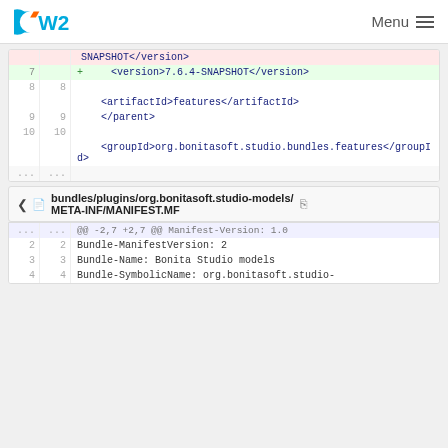OW2 | Menu
[Figure (screenshot): Code diff showing version change from SNAPSHOT</version> to <version>7.6.4-SNAPSHOT</version> with line numbers and artifactId/groupId XML elements]
bundles/plugins/org.bonitasoft.studio-models/META-INF/MANIFEST.MF
[Figure (screenshot): Code diff showing MANIFEST.MF file with @@ -2,7 +2,7 @@ Manifest-Version: 1.0, Bundle-ManifestVersion: 2, Bundle-Name: Bonita Studio models, Bundle-SymbolicName: org.bonitasoft.studio-]